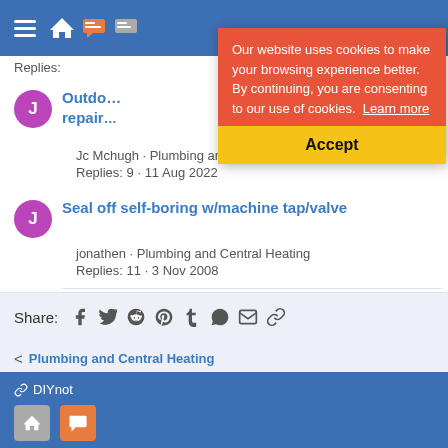DIYnot navigation bar with hamburger menu and icons
[Figure (screenshot): Cookie consent banner overlay with orange background reading 'Our website uses cookies to make your browsing experience better. By continuing, you are consenting to our use of cookies. Learn more' and yellow Accept button]
Replies: (truncated)
Outdoor tap repair (truncated)
Jc Mchugh · Plumbing and Central Heating
Replies: 9 · 11 Aug 2022
Seal off self-boring w/machine tap/valve
jonathen · Plumbing and Central Heating
Replies: 11 · 3 Nov 2008
Share: (social icons: Facebook, Twitter, Reddit, Pinterest, Tumblr, WhatsApp, Email, Link)
< Plumbing and Central Heating
DIYnot — Contact us · Terms and rules · Privacy policy · Help · Home